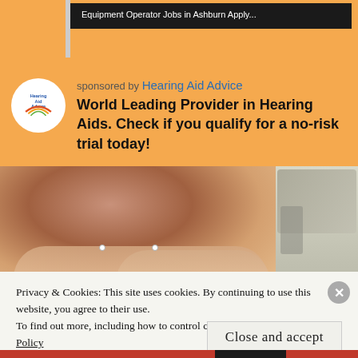[Figure (screenshot): Top advertisement banner with dark background showing 'Equipment Operator Jobs in Ashburn Apply...' text]
sponsored by Hearing Aid Advice
World Leading Provider in Hearing Aids. Check if you qualify for a no-risk trial today!
[Figure (photo): Close-up photo of fingers holding small hearing aid components with pins visible; partial photo of person wearing hearing aid on right]
Privacy & Cookies: This site uses cookies. By continuing to use this website, you agree to their use.
To find out more, including how to control cookies, see here: Cookie Policy
Close and accept